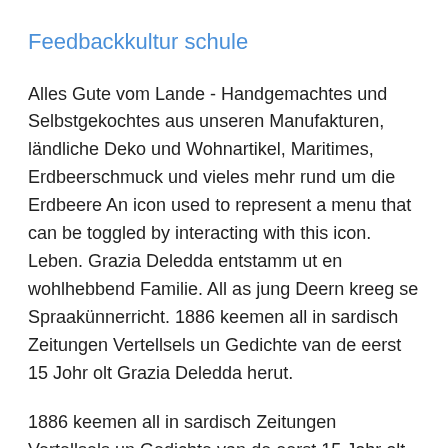Feedbackkultur schule
Alles Gute vom Lande - Handgemachtes und Selbstgekochtes aus unseren Manufakturen, ländliche Deko und Wohnartikel, Maritimes, Erdbeerschmuck und vieles mehr rund um die Erdbeere An icon used to represent a menu that can be toggled by interacting with this icon. Leben. Grazia Deledda entstamm ut en wohlhebbend Familie. All as jung Deern kreeg se Spraakünnerricht. 1886 keemen all in sardisch Zeitungen Vertellsels un Gedichte van de eerst 15 Johr olt Grazia Deledda herut.
1886 keemen all in sardisch Zeitungen Vertellsels un Gedichte van de eerst 15 Johr olt Grazia Deledda herut. 1897 hett se Palmiro Madesani